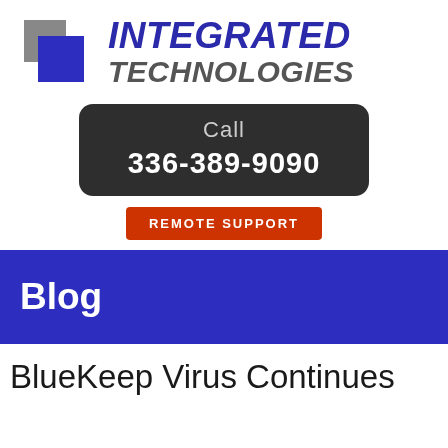[Figure (logo): Integrated Technologies logo with two overlapping squares (gray and blue) and bold italic text reading INTEGRATED TECHNOLOGIES]
Call
336-389-9090
REMOTE SUPPORT
Blog
BlueKeep Virus Continues